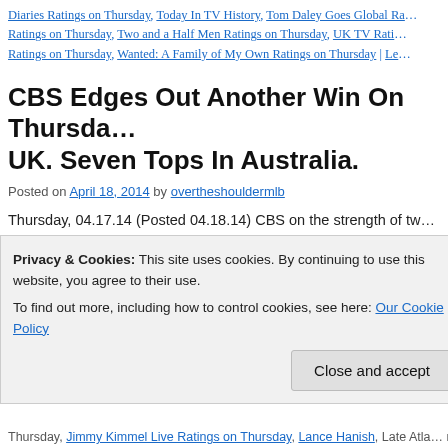Diaries Ratings on Thursday, Today In TV History, Tom Daley Goes Global Ra... Ratings on Thursday, Two and a Half Men Ratings on Thursday, UK TV Rati... Ratings on Thursday, Wanted: A Family of My Own Ratings on Thursday | Le...
CBS Edges Out Another Win On Thursda... UK. Seven Tops In Australia.
Posted on April 18, 2014 by overtheshouldermlb
Thursday, 04.17.14 (Posted 04.18.14) CBS on the strength of tw... Theory', on at 8P drawing 9.67 million viewers (6.6/12) and the... program on television on Thursday with 10.83 … Continue read...
Posted in Audience Analysis, Audience Management, Broadcast TV Ratings i... UK, Broadcast TV Ratings in US, Cable TV Ratings, Daily Broadcast Ratings... Ratin... Media Management, Television Program Research, Television Ratin...
Privacy & Cookies: This site uses cookies. By continuing to use this website, you agree to their use. To find out more, including how to control cookies, see here: Our Cookie Policy [Close and accept button]
Thursday, Jimmy Kimmel Live Ratings on Thursday, Lance Hanish, Late Atla... ng